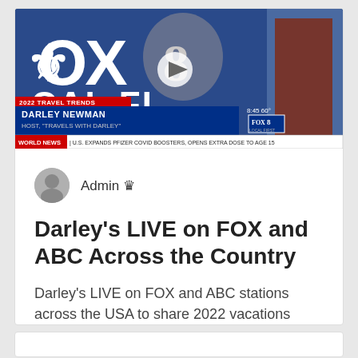[Figure (screenshot): Fox 8 Local First TV screenshot showing a blonde woman being interviewed. Lower third reads 'DARLEY NEWMAN HOST, TRAVELS WITH DARLEY' with Fox 8 logo. Ticker at bottom: 'WORLD NEWS | U.S. EXPANDS PFIZER COVID BOOSTERS, OPENS EXTRA DOSE TO AGE 15'. Play button overlay visible.]
Admin 👑
Darley's LIVE on FOX and ABC Across the Country
Darley's LIVE on FOX and ABC stations across the USA to share 2022 vacations trends and Civi...